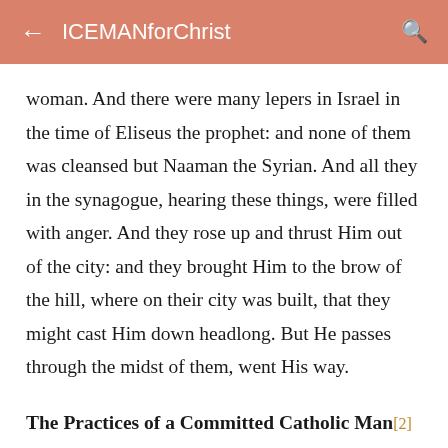← ICEMANforChrist 🔍
woman. And there were many lepers in Israel in the time of Eliseus the prophet: and none of them was cleansed but Naaman the Syrian. And all they in the synagogue, hearing these things, were filled with anger. And they rose up and thrust Him out of the city: and they brought Him to the brow of the hill, where on their city was built, that they might cast Him down headlong. But He passes through the midst of them, went His way.
The Practices of a Committed Catholic Man[2]
What practices can help us to take up our cross and follow our